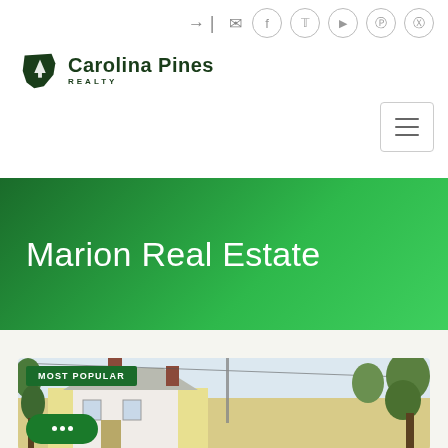Carolina Pines Realty — website header with navigation icons and hamburger menu
[Figure (logo): Carolina Pines Realty logo with South Carolina state shape in dark green and text]
Marion Real Estate
[Figure (photo): Exterior photo of a house with white/yellow siding, metal roof, two brick chimneys, surrounded by large green trees. A MOST POPULAR badge overlays the top-left corner of the image. A chat bubble button is in the lower left.]